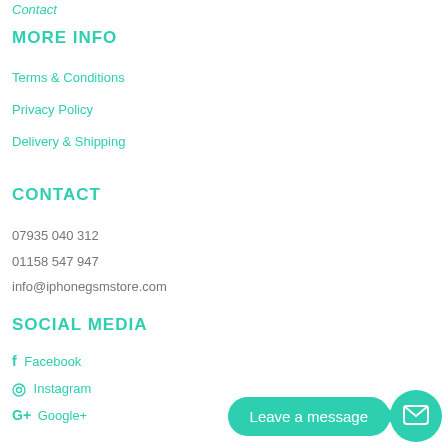Contact
MORE INFO
Terms & Conditions
Privacy Policy
Delivery & Shipping
CONTACT
07935 040 312
01158 547 947
info@iphonegsmstore.com
SOCIAL MEDIA
Facebook
Instagram
Google+
[Figure (other): Leave a message chat bubble with mail icon circle button]